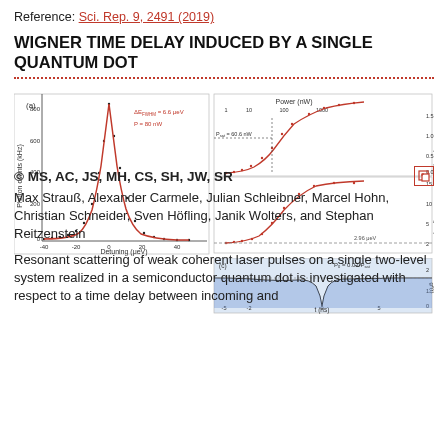Reference: Sci. Rep. 9, 2491 (2019)
WIGNER TIME DELAY INDUCED BY A SINGLE QUANTUM DOT
[Figure (other): Composite scientific figure with three panels: (a) photon count spectrum vs detuning showing a Lorentzian peak with ΔE_FWHM = 6.6 μeV and P = 80 nW; (b) top sub-panel showing photon counts vs power (nW) on log scale with P_sat = 60.6 nW marked, bottom sub-panel showing ΔE_FWHM vs power with 2.96 μeV dashed line; (c) g²(t) vs t (ns) showing an antibunching dip, P = 0.07 P_sat.]
© MS, AC, JS, MH, CS, SH, JW, SR
Max Strauß, Alexander Carmele, Julian Schleibner, Marcel Hohn, Christian Schneider, Sven Höfling, Janik Wolters, and Stephan Reitzenstein
Resonant scattering of weak coherent laser pulses on a single two-level system realized in a semiconductor quantum dot is investigated with respect to a time delay between incoming and